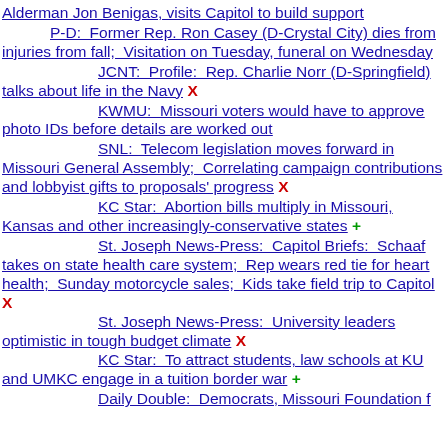Alderman Jon Benigas, visits Capitol to build support
P-D:  Former Rep. Ron Casey (D-Crystal City) dies from injuries from fall;  Visitation on Tuesday, funeral on Wednesday
JCNT:  Profile:  Rep. Charlie Norr (D-Springfield) talks about life in the Navy X
KWMU:  Missouri voters would have to approve photo IDs before details are worked out
SNL:  Telecom legislation moves forward in Missouri General Assembly;  Correlating campaign contributions and lobbyist gifts to proposals' progress X
KC Star:  Abortion bills multiply in Missouri, Kansas and other increasingly-conservative states +
St. Joseph News-Press:  Capitol Briefs:  Schaaf takes on state health care system;  Rep wears red tie for heart health;  Sunday motorcycle sales;  Kids take field trip to Capitol X
St. Joseph News-Press:  University leaders optimistic in tough budget climate X
KC Star:  To attract students, law schools at KU and UMKC engage in a tuition border war +
Daily Double:  Democrats, Missouri Foundation f...